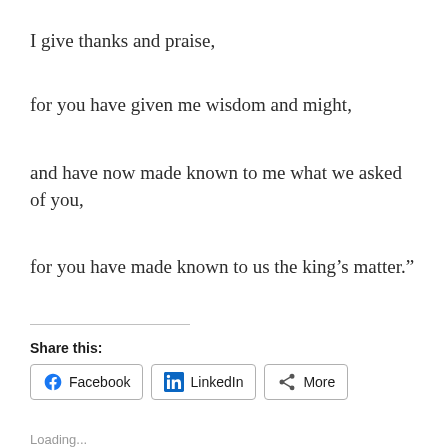I give thanks and praise,
for you have given me wisdom and might,
and have now made known to me what we asked of you,
for you have made known to us the king’s matter.”
Share this:
Facebook   LinkedIn   More
Loading...